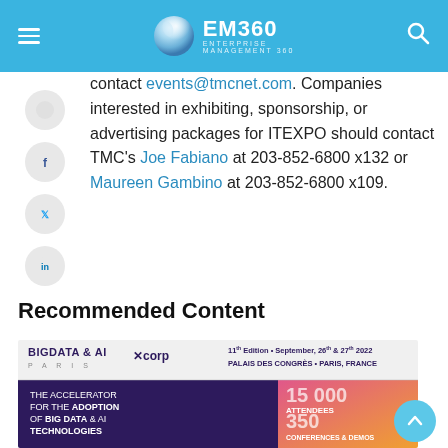EM360 ENTERPRISE MANAGEMENT 360
contact events@tmcnet.com. Companies interested in exhibiting, sponsorship, or advertising packages for ITEXPO should contact TMC’s Joe Fabiano at 203-852-6800 x132 or Maureen Gambino at 203-852-6800 x109.
Recommended Content
[Figure (photo): BIGDATA & AI PARIS XCorp banner advertisement. 11th Edition • September, 26th & 27th 2022, PALAIS DES CONGRES • PARIS, FRANCE. Text reads: THE ACCELERATOR FOR THE ADOPTION OF BIG DATA & AI TECHNOLOGIES. Right panel: 15 000 ATTENDEES, 350 CONFERENCES & DEMOS.]